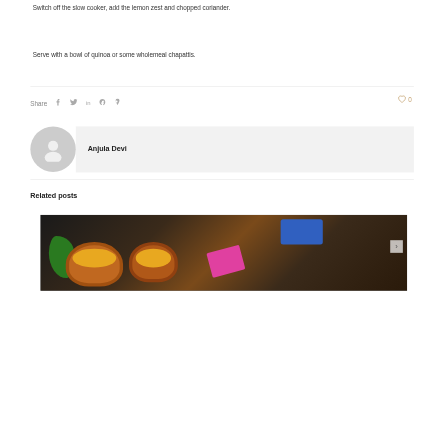Switch off the slow cooker, add the lemon zest and chopped coriander.
Serve with a bowl of quinoa or some wholemeal chapattis.
Share  f  in  P  0
Anjula Devi
Related posts
[Figure (photo): Colorful Indian spices, herbs, and ingredients arranged on a dark background with clay pots filled with spices]